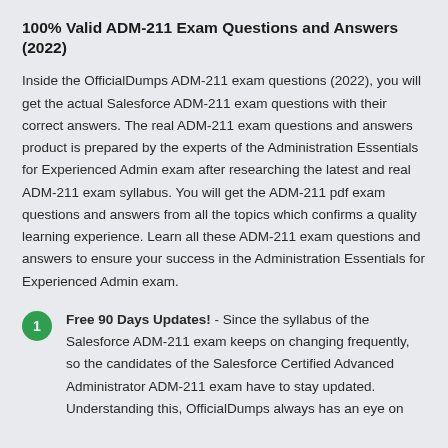100% Valid ADM-211 Exam Questions and Answers (2022)
Inside the OfficialDumps ADM-211 exam questions (2022), you will get the actual Salesforce ADM-211 exam questions with their correct answers. The real ADM-211 exam questions and answers product is prepared by the experts of the Administration Essentials for Experienced Admin exam after researching the latest and real ADM-211 exam syllabus. You will get the ADM-211 pdf exam questions and answers from all the topics which confirms a quality learning experience. Learn all these ADM-211 exam questions and answers to ensure your success in the Administration Essentials for Experienced Admin exam.
Free 90 Days Updates! - Since the syllabus of the Salesforce ADM-211 exam keeps on changing frequently, so the candidates of the Salesforce Certified Advanced Administrator ADM-211 exam have to stay updated. Understanding this, OfficialDumps always has an eye on